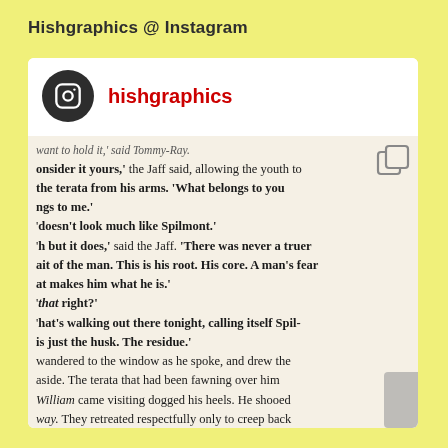Hishgraphics @ Instagram
[Figure (screenshot): Instagram post screenshot showing a photo of book pages with text from a novel, featuring the username 'hishgraphics' with an Instagram-style circular icon. The book text includes dialogue about Tommy-Ray, the Jaff, terata, Spilmont, and related narrative content.]